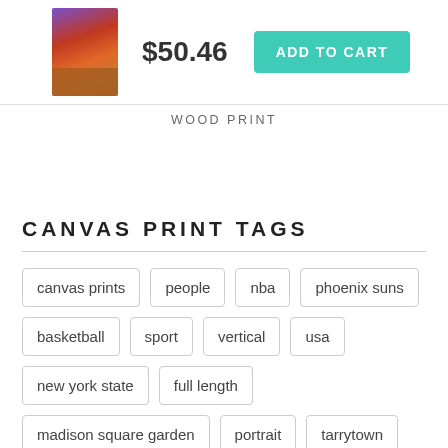[Figure (photo): Small thumbnail image of basketball players (Phoenix Suns) used as product preview]
$50.46
ADD TO CART
WOOD PRINT
CANVAS PRINT TAGS
canvas prints
people
nba
phoenix suns
basketball
sport
vertical
usa
new york state
full length
madison square garden
portrait
tarrytown